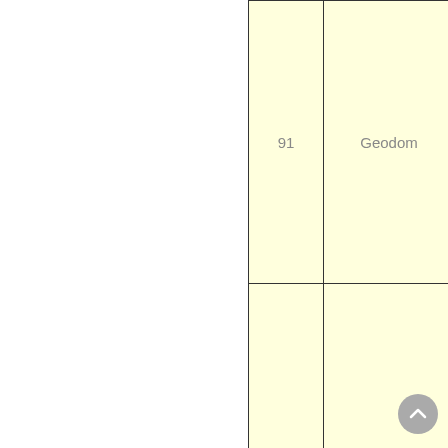|  |  |
| --- | --- |
| 91 | Geodom |
| 92 | Geodom |
| 93 | Geodom |